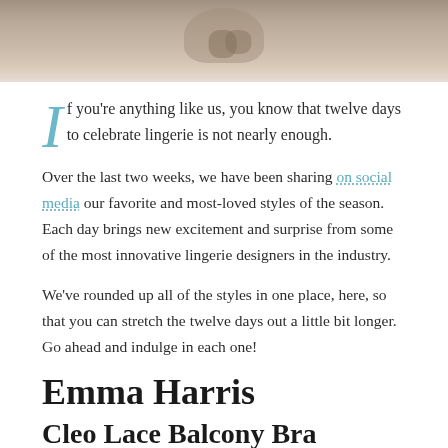[Figure (photo): Partial photo of a person, cropped at top of page, showing hands and torso in neutral/beige tones]
If you're anything like us, you know that twelve days to celebrate lingerie is not nearly enough.
Over the last two weeks, we have been sharing on social media our favorite and most-loved styles of the season. Each day brings new excitement and surprise from some of the most innovative lingerie designers in the industry.
We've rounded up all of the styles in one place, here, so that you can stretch the twelve days out a little bit longer. Go ahead and indulge in each one!
Emma Harris
Cleo Lace Balcony Bra